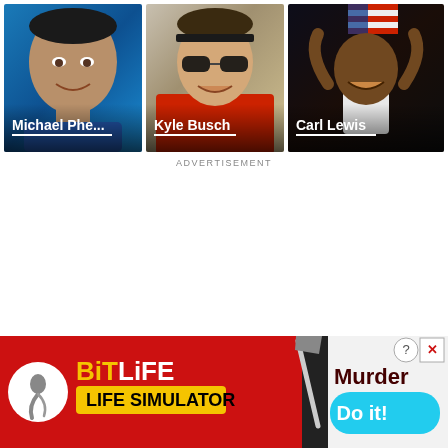[Figure (photo): Photo card of Michael Phelps (truncated as 'Michael Phe...') with white text and underline label at bottom]
[Figure (photo): Photo card of Kyle Busch in racing gear with white text and underline label at bottom]
[Figure (photo): Photo card of Carl Lewis holding American flag with white text and underline label at bottom]
ADVERTISEMENT
[Figure (screenshot): BitLife mobile game advertisement banner showing red background with BitLife logo (circle with sperm icon), 'BitLife' text in yellow/white, black divider strip, and right panel with dark red 'Murder' text and cyan 'Do it!' button. Close (X) and help (?) buttons in top right corner.]